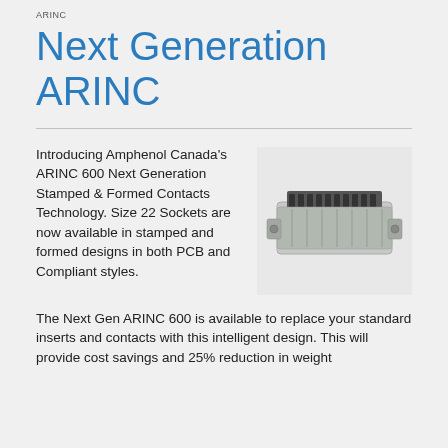ARINC
Next Generation ARINC
Introducing Amphenol Canada's ARINC 600 Next Generation Stamped & Formed Contacts Technology. Size 22 Sockets are now available in stamped and formed designs in both PCB and Compliant styles.
[Figure (photo): Photo of an ARINC 600 connector module, a silver rectangular metal housing with black contact inserts, shown at an angle.]
The Next Gen ARINC 600 is available to replace your standard inserts and contacts with this intelligent design. This will provide cost savings and 25% reduction in weight